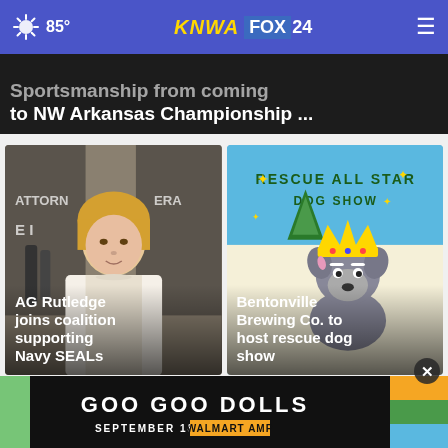85° | KNWA FOX24
Sportsmanship from coming to NW Arkansas Championship ...
[Figure (photo): AG Rutledge at a press conference with microphones, text overlay: AG Rutledge joins coalition supporting Navy SEALs]
[Figure (illustration): Rescue All Star Dog Show promotional graphic with cartoon dog wearing crown, text: Bentonville Brewing Co. to host rescue dog show]
[Figure (photo): Goo Goo Dolls advertisement banner: September 18, Walmart AMP]